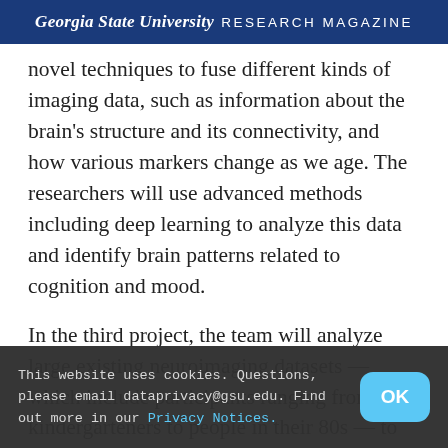Georgia State University RESEARCH MAGAZINE
novel techniques to fuse different kinds of imaging data, such as information about the brain's structure and its connectivity, and how various markers change as we age. The researchers will use advanced methods including deep learning to analyze this data and identify brain patterns related to cognition and mood.
In the third project, the team will analyze large existing neuroimaging datasets — which include participants ranging from kindergarteners to people in their 80s — to develop "predictive fingerprints" of the developing and aging brain. The fourth project will examine an important aspects of linguistic processing, such as working
This website uses cookies. Questions, please email dataprivacy@gsu.edu. Find out more in our Privacy Notices.